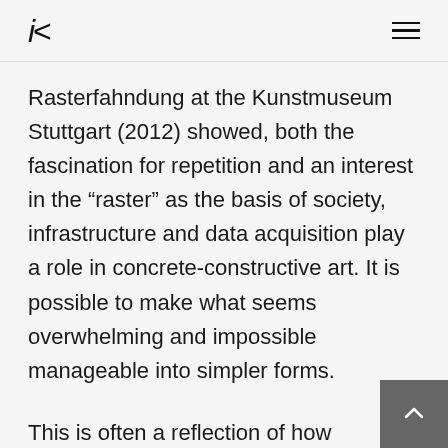iK ≡
Rasterfahndung at the Kunstmuseum Stuttgart (2012) showed, both the fascination for repetition and an interest in the “raster” as the basis of society, infrastructure and data acquisition play a role in concrete-constructive art. It is possible to make what seems overwhelming and impossible manageable into simpler forms.
This is often a reflection of how technology and machines shape our perception. It’s not about the machines, but our perception of reality with all its shortcomings. QR codes are boring as works of art, because they convey such a clear message. However, the code could be interpreted as an example of image